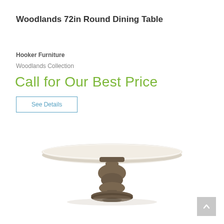Woodlands 72in Round Dining Table
Hooker Furniture
Woodlands Collection
Call for Our Best Price
See Details
[Figure (photo): A round dining table with a light-colored circular top and a dark brown ornate pedestal base, viewed from a slight angle.]